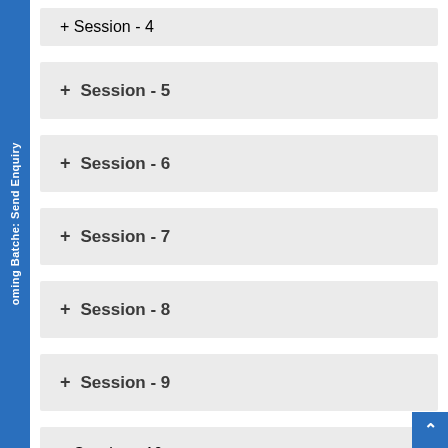+ Session - 4
+ Session - 5
+ Session - 6
+ Session - 7
+ Session - 8
+ Session - 9
+ Session - 10